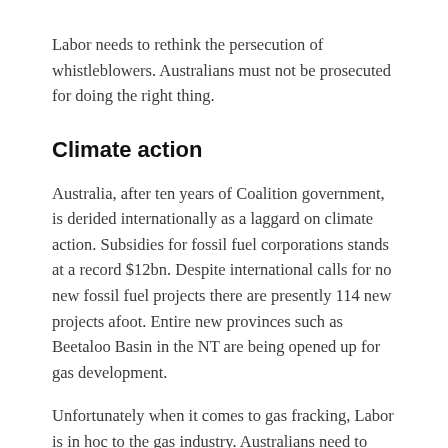Labor needs to rethink the persecution of whistleblowers. Australians must not be prosecuted for doing the right thing.
Climate action
Australia, after ten years of Coalition government, is derided internationally as a laggard on climate action. Subsidies for fossil fuel corporations stands at a record $12bn. Despite international calls for no new fossil fuel projects there are presently 114 new projects afoot. Entire new provinces such as Beetaloo Basin in the NT are being opened up for gas development.
Unfortunately when it comes to gas fracking, Labor is in hoc to the gas industry. Australians need to